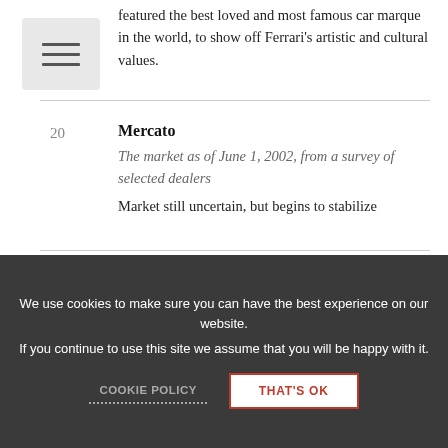featured the best loved and most famous car marque in the world, to show off Ferrari's artistic and cultural values.
20 Mercato
The market as of June 1, 2002, from a survey of selected dealers
Market still uncertain, but begins to stabilize
24 Ferrari Factory Postcards
A short history and a long list of the famous but elusive
We use cookies to make sure you can have the best experience on our website. If you continue to use this site we assume that you will be happy with it.
COOKIE POLICY
THAT'S OK